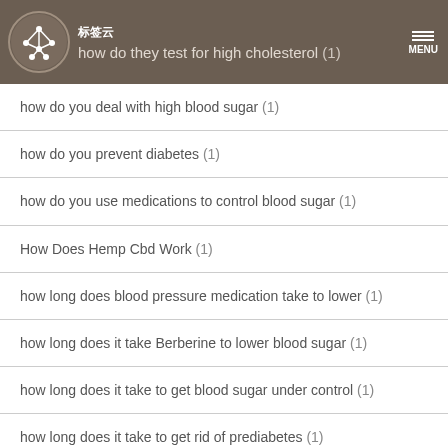how do they test for high cholesterol (1)
how do you deal with high blood sugar (1)
how do you prevent diabetes (1)
how do you use medications to control blood sugar (1)
How Does Hemp Cbd Work (1)
how long does blood pressure medication take to lower (1)
how long does it take Berberine to lower blood sugar (1)
how long does it take to get blood sugar under control (1)
how long does it take to get rid of prediabetes (1)
how long does rhino 7 male enhancement last (1)